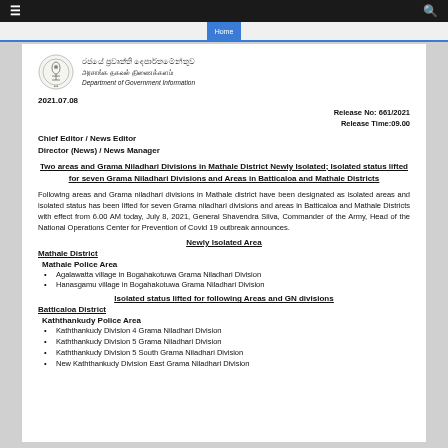Department of Government Information
2021.07.08
Release No: 661/2021
Release Time:09.00
Chief Editor / News Editor
Director (News) / News Manager
Two areas and Grama Niladhari Divisions in Mathale District Newly Isolated; Isolated status lifted for seven Grama Niladhari Divisions and Areas in Batticaloa and Mathale Districts
Following areas and Grama niladhari divisions in Mathale district have been designated as isolated areas and isolated status has been lifted for seven Grama niladhari divisions and areas in Batticaloa and Mathale Districts with effect from 6.00 AM today, July 8, 2021, General Shavendra Silva, Commander of the Army, Head of the National Operations Center for Prevention of Covid 19 outbreak announces.
Newly Isolated Area
Mathale District
Mathale Police Area
Agalawatta village in Bogahakotuwa Grama Niladhari Division
Hanasgamu village in Bogahakotuwa Grama Niladhari Division
Isolated status lifted for following Areas and GN divisions
Batticaloa District
Kaththankudy Police Area
Kaththankudy Division 4 Grama Niladhari Division
Kaththankudy Division 5 Grama Niladhari Division
Kaththankudy Division 5 South Grama Niladhari Division
New Kaththankudy Division East Grama Niladhari Division